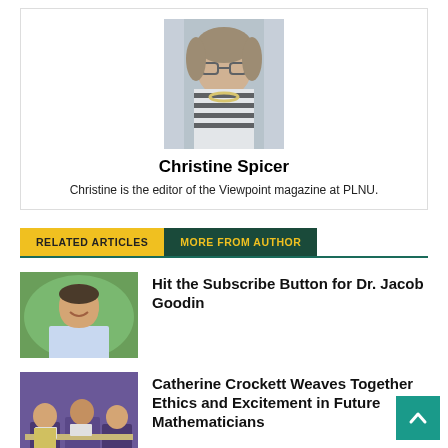[Figure (photo): Headshot of Christine Spicer, a woman with glasses and shoulder-length hair wearing a striped top and yellow necklace]
Christine Spicer
Christine is the editor of the Viewpoint magazine at PLNU.
RELATED ARTICLES  MORE FROM AUTHOR
[Figure (photo): Photo of a smiling young man with short dark hair in outdoor setting]
Hit the Subscribe Button for Dr. Jacob Goodin
[Figure (photo): Photo of people in a classroom setting with laptops]
Catherine Crockett Weaves Together Ethics and Excitement in Future Mathematicians